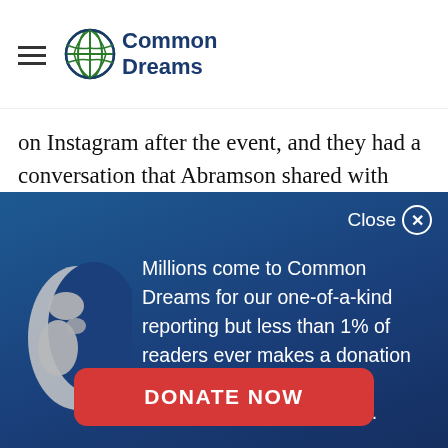Common Dreams
on Instagram after the event, and they had a conversation that Abramson shared with other members of the college group, including Ennis, who said that "this will sink his campaign."
[Figure (screenshot): Common Dreams donation modal overlay with globe logo, text about readership and donations, and a DONATE NOW button]
Millions come to Common Dreams for our one-of-a-kind reporting but less than 1% of readers ever makes a donation to support our work. Your donations are our lifeblood.
DONATE NOW